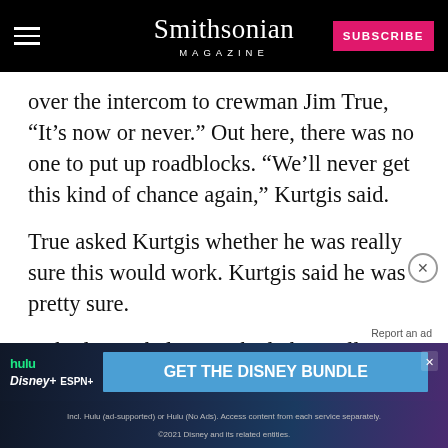Smithsonian MAGAZINE
over the intercom to crewman Jim True, “It’s now or never.” Out here, there was no one to put up roadblocks. “We’ll never get this kind of chance again,” Kurtgis said.
True asked Kurtgis whether he was really sure this would work. Kurtgis said he was pretty sure.
Nobody in a helicopter had physically connected with a live, high-voltage conductor, and the people who knew electricity weren’t sure what would happen when current flowed from high-tension lines to the ground, perhaps through a
[Figure (screenshot): Advertisement banner for Disney Bundle featuring Hulu, Disney+, and ESPN+ logos with 'GET THE DISNEY BUNDLE' call to action button]